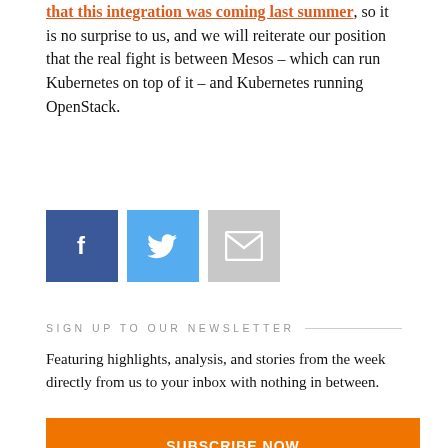that this integration was coming last summer, so it is no surprise to us, and we will reiterate our position that the real fight is between Mesos – which can run Kubernetes on top of it – and Kubernetes running OpenStack.
[Figure (illustration): Three social sharing icons: Facebook (blue), Twitter (light blue), Email (gray)]
SIGN UP TO OUR NEWSLETTER
Featuring highlights, analysis, and stories from the week directly from us to your inbox with nothing in between.
SUBSCRIBE NOW
RELATED ARTICLES
[Figure (illustration): Back to top arrow button in orange]
[Figure (photo): Circular thumbnail image for related article]
TEACHING KUBERNETES TO DO FRACTIONS AND